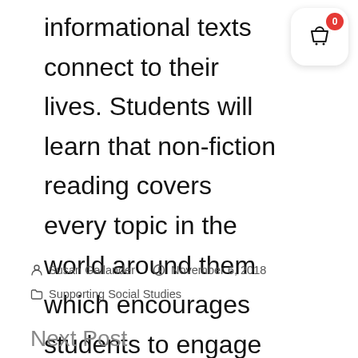informational texts connect to their lives. Students will learn that non-fiction reading covers every topic in the world around them which encourages students to engage with more informational texts in the future!
[Figure (other): Shopping basket icon button with red badge showing '0', white rounded square background]
Susan Gallander   November 6, 2018   Supporting Social Studies
Next Post